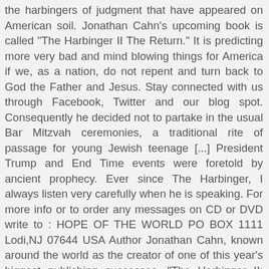the harbingers of judgment that have appeared on American soil. Jonathan Cahn's upcoming book is called "The Harbinger II The Return." It is predicting more very bad and mind blowing things for America if we, as a nation, do not repent and turn back to God the Father and Jesus. Stay connected with us through Facebook, Twitter and our blog spot. Consequently he decided not to partake in the usual Bar Mitzvah ceremonies, a traditional rite of passage for young Jewish teenage [...] President Trump and End Time events were foretold by ancient prophecy. Ever since The Harbinger, I always listen very carefully when he is speaking. For more info or to order any messages on CD or DVD write to : HOPE OF THE WORLD PO BOX 1111 Lodi,NJ 07644 USA Author Jonathan Cahn, known around the world as the creator of one of this year's biggest publishing successes, "The Harbinger II: The Return," believes that there are prophetic, biblical explanations for the many trials we've experienced this year. Rabbi Jonathan Cahn was nicknamed the 'The Prophetic Voice of this Generation' and his official website is hopeoftheworld.org. 232K likes. From an early age Jonathan